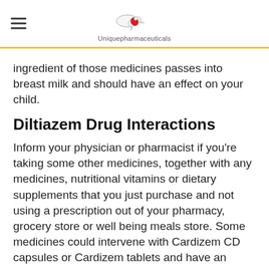Uniquepharmaceuticals
ingredient of those medicines passes into breast milk and should have an effect on your child.
Diltiazem Drug Interactions
Inform your physician or pharmacist if you’re taking some other medicines, together with any medicines, nutritional vitamins or dietary supplements that you just purchase and not using a prescription out of your pharmacy, grocery store or well being meals store. Some medicines could intervene with Cardizem CD capsules or Cardizem tablets and have an effect on the way it works. These embrace: